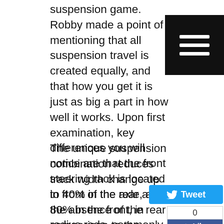suspension game. Robby made a point of mentioning that all suspension travel is created equally, and that how you get it is just as big a part in how well it works. Upon first examination, key differences you will notice are that the front steering rack is located in front of the axle, and the absence of the rear radius rods, commonly associated with long travel UTV suspension systems. The Wildcat XX features a completely unique suspension system, utilizing unequal length front A-arms and an Off-Road racing or "Trophy Truck" inspired rear trailing arm. Robby Gordon has been developing and proving this suspension design in his SST race Series for the past two years.
The unique suspension combination reduces track width change up to 40% in the rear and 80% in the front, in comparison to the competition. This true tracking design creates previously unmatched stability and control. The XX's rear trailing arm allows for the tires to travel virtually straight up and down through the entire suspension travel. This creates less side-to-side movement than the conventional radius rod set up, in which the tires track drastically in and out during the suspensions travel. This design requires a lot more inner CV axle plunge, as the wheel is not moving further away as the suspension compresses. The Wildcat XX uses a unique double plunging CV axle set up to make this